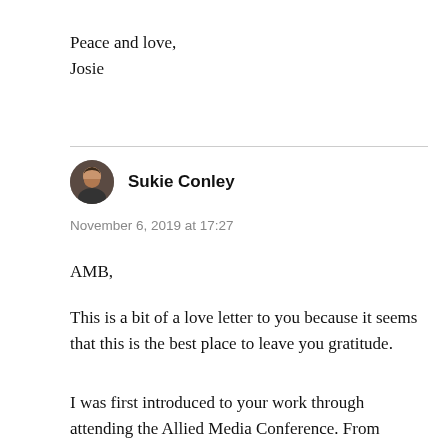Peace and love,
Josie
Sukie Conley
November 6, 2019 at 17:27
AMB,
This is a bit of a love letter to you because it seems that this is the best place to leave you gratitude.
I was first introduced to your work through attending the Allied Media Conference. From there…